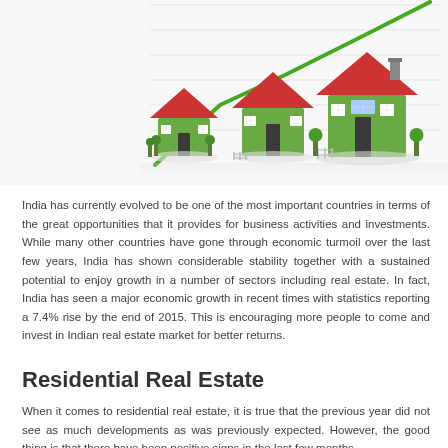[Figure (illustration): Photo/illustration of four green houses with red roofs arranged in increasing size from left to right, with a green upward-trending line chart overlay in the background, on a white/light background suggesting real estate growth.]
India has currently evolved to be one of the most important countries in terms of the great opportunities that it provides for business activities and investments. While many other countries have gone through economic turmoil over the last few years, India has shown considerable stability together with a sustained potential to enjoy growth in a number of sectors including real estate. In fact, India has seen a major economic growth in recent times with statistics reporting a 7.4% rise by the end of 2015. This is encouraging more people to come and invest in Indian real estate market for better returns.
Residential Real Estate
When it comes to residential real estate, it is true that the previous year did not see as much developments as was previously expected. However, the good thing is that there have been positive signs in the last few months...